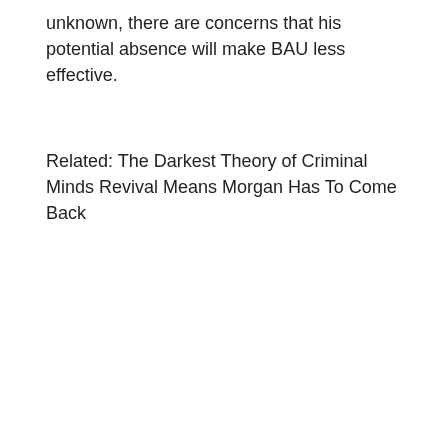unknown, there are concerns that his potential absence will make BAU less effective.
Related: The Darkest Theory of Criminal Minds Revival Means Morgan Has To Come Back